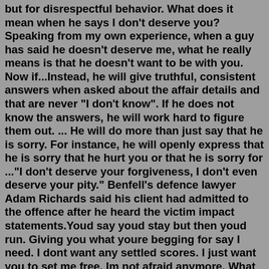but for disrespectful behavior. What does it mean when he says I don't deserve you? Speaking from my own experience, when a guy has said he doesn't deserve me, what he really means is that he doesn't want to be with you. Now if...Instead, he will give truthful, consistent answers when asked about the affair details and that are never "I don't know". If he does not know the answers, he will work hard to figure them out. ... He will do more than just say that he is sorry. For instance, he will openly express that he is sorry that he hurt you or that he is sorry for ..."I don't deserve your forgiveness, I don't even deserve your pity." Benfell's defence lawyer Adam Richards said his client had admitted to the offence after he heard the victim impact statements. Youd say youd stay but then youd run. Giving you what youre begging for say I need. I dont want any settled scores. I just want you to set me free. Im not afraid anymore. What makes you sure youre all I need? We are in our places, exactly as planned. We don't always feel fantastic, and we haven't always chosen the things